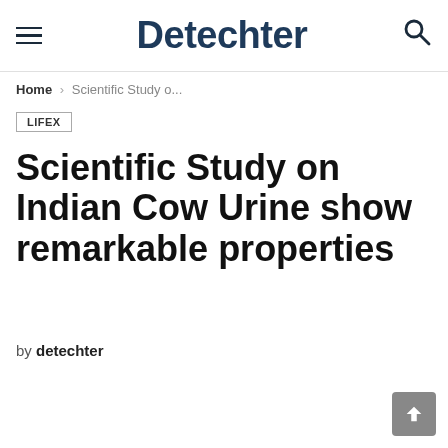Detechter
Home › Scientific Study o...
LIFEX
Scientific Study on Indian Cow Urine show remarkable properties
by detechter